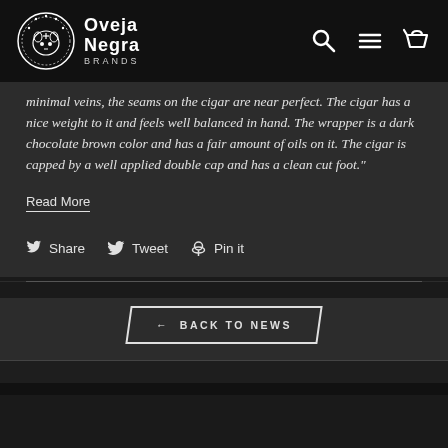Oveja Negra Brands
minimal veins, the seams on the cigar are near perfect. The cigar has a nice weight to it and feels well balanced in hand. The wrapper is a dark chocolate brown color and has a fair amount of oils on it. The cigar is capped by a well applied double cap and has a clean cut foot."
Read More
Share  Tweet  Pin it
← BACK TO NEWS